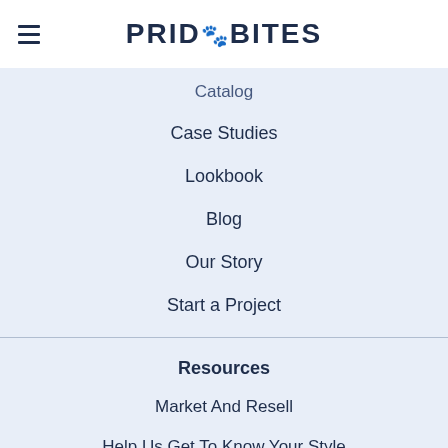[Figure (logo): PrideBites logo with hamburger menu icon on the left and bold dark navy text 'PRIDE BITES' (with a paw print icon replacing the colon) centered on a white header bar]
Catalog
Case Studies
Lookbook
Blog
Our Story
Start a Project
Resources
Market And Resell
Help Us Get To Know Your Style
Why Target Pet Parents?